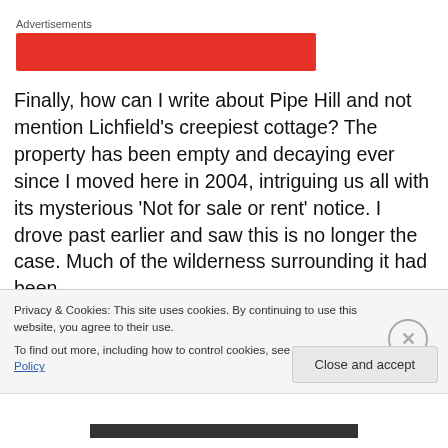Advertisements
[Figure (other): Red advertisement banner block]
Finally, how can I write about Pipe Hill and not mention Lichfield's creepiest cottage? The property has been empty and decaying ever since I moved here in 2004, intriguing us all with its mysterious 'Not for sale or rent' notice. I drove past earlier and saw this is no longer the case. Much of the wilderness surrounding it had been
Privacy & Cookies: This site uses cookies. By continuing to use this website, you agree to their use.
To find out more, including how to control cookies, see here: Cookie Policy